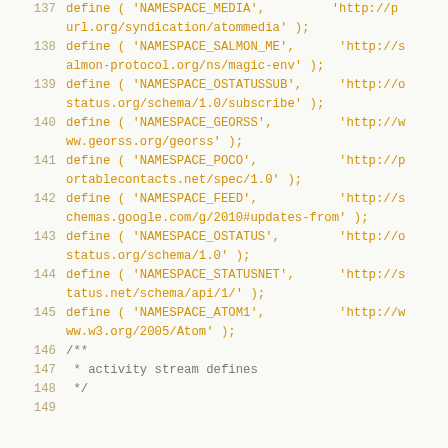137   define ( 'NAMESPACE_MEDIA',         'http://purl.org/syndication/atommedia' );
138   define ( 'NAMESPACE_SALMON_ME',     'http://salmon-protocol.org/ns/magic-env' );
139   define ( 'NAMESPACE_OSTATUSSUB',    'http://ostatus.org/schema/1.0/subscribe' );
140   define ( 'NAMESPACE_GEORSS',        'http://www.georss.org/georss' );
141   define ( 'NAMESPACE_POCO',          'http://portablecontacts.net/spec/1.0' );
142   define ( 'NAMESPACE_FEED',          'http://schemas.google.com/g/2010#updates-from' );
143   define ( 'NAMESPACE_OSTATUS',       'http://ostatus.org/schema/1.0' );
144   define ( 'NAMESPACE_STATUSNET',     'http://status.net/schema/api/1/' );
145   define ( 'NAMESPACE_ATOM1',         'http://www.w3.org/2005/Atom' );
146   /**
147    * activity stream defines
148    */
149